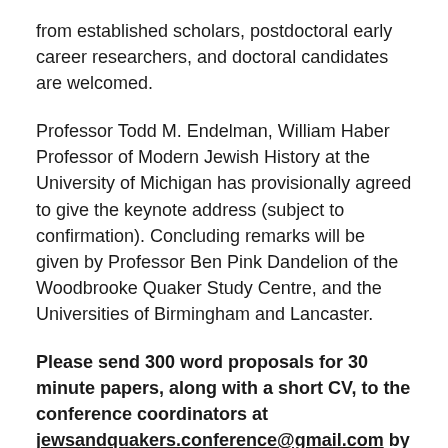from established scholars, postdoctoral early career researchers, and doctoral candidates are welcomed.
Professor Todd M. Endelman, William Haber Professor of Modern Jewish History at the University of Michigan has provisionally agreed to give the keynote address (subject to confirmation). Concluding remarks will be given by Professor Ben Pink Dandelion of the Woodbrooke Quaker Study Centre, and the Universities of Birmingham and Lancaster.
Please send 300 word proposals for 30 minute papers, along with a short CV, to the conference coordinators at jewsandquakers.conference@gmail.com by midnight on Monday, April 10, 2017.